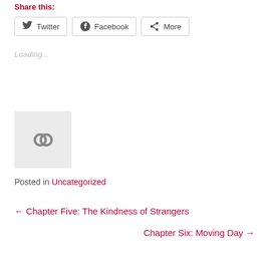Share this:
Twitter  Facebook  More
Loading...
[Figure (other): Avatar/gravatar icon box with a chain-link icon in the center on a light gray background]
Posted in Uncategorized
← Chapter Five: The Kindness of Strangers
Chapter Six: Moving Day →